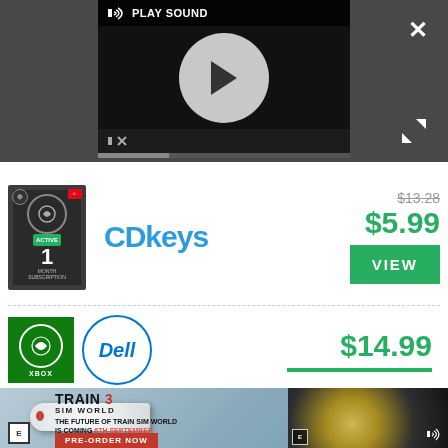[Figure (screenshot): Video player UI with play sound label, play button circle, mute icon, progress bar, close X button, and expand icon on dark background]
[Figure (screenshot): CDKeys product listing showing Xbox Game Pass card thumbnail, CDKeys logo, original price $13.28 struck through, sale price $5.99 in green, and green VIEW button]
[Figure (screenshot): Product listing row with Xbox badge, Dell logo, price $14.99 in green with green underline]
[Figure (screenshot): Train Sim World 3 promotional banner with train image, tagline THE FUTURE OF TRAIN SIM WORLD IS COMING 6TH SEPTEMBER, PRE-ORDER NOW button, and embedded video thumbnail]